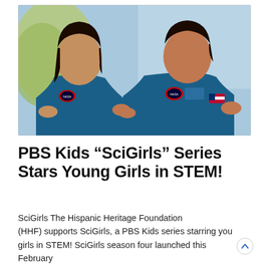[Figure (photo): Two young girls wearing blue NASA astronaut-style flight suits posing together outdoors. The girl on the left has long straight dark hair; the girl on the right has a NASA patch on her chest and an American flag patch on her sleeve. Background shows trees and a light blue sky.]
PBS Kids “SciGirls” Series Stars Young Girls in STEM!
SciGirls The Hispanic Heritage Foundation (HHF) supports SciGirls, a PBS Kids series starring you girls in STEM! SciGirls season four launched this February on PBS Kids. This February also marks the...